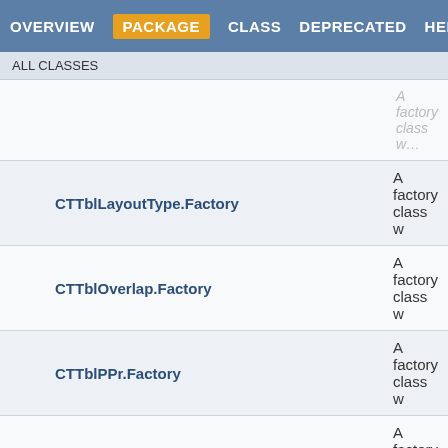OVERVIEW  PACKAGE  CLASS  DEPRECATED  HELP
ALL CLASSES
| Class | Description |
| --- | --- |
| CTTblLayoutType.Factory | A factory class w |
| CTTblOverlap.Factory | A factory class w |
| CTTblPPr.Factory | A factory class w |
| CTTblPr.Factory | A factory class w |
| CTTblPrBase.Factory | A factory class w |
| CTTblPrChange.Factory | A factory class w |
| CTTblPrEx.Factory | A factory class w |
| CTTblPrExBase.Factory | A factory class w |
| CTTblPrExChange.Factory | A factory class w |
| CTTblStylePr.Factory | A factory class w |